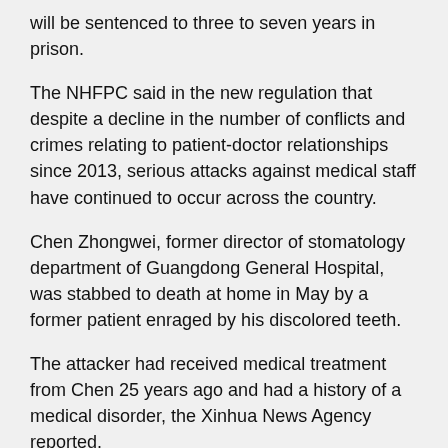will be sentenced to three to seven years in prison.
The NHFPC said in the new regulation that despite a decline in the number of conflicts and crimes relating to patient-doctor relationships since 2013, serious attacks against medical staff have continued to occur across the country.
Chen Zhongwei, former director of stomatology department of Guangdong General Hospital, was stabbed to death at home in May by a former patient enraged by his discolored teeth.
The attacker had received medical treatment from Chen 25 years ago and had a history of a medical disorder, the Xinhua News Agency reported.
Chinese netizens began a nationwide campaign to honor Chen and others, and the hashtag "black ribbon campaign" garnered more than 2.5 million page views on Sina Weibo and received more than 2,000 comments within two days.